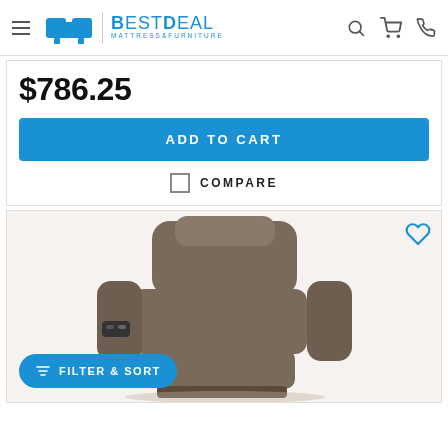BestDeal Mattress & Furniture
$786.25
ADD TO CART
COMPARE
[Figure (photo): Brown/gray recliner chair with padded arms and headrest, shown at an angle. Has a control panel on the side arm. Displayed on a product listing page.]
FILTER & SORT